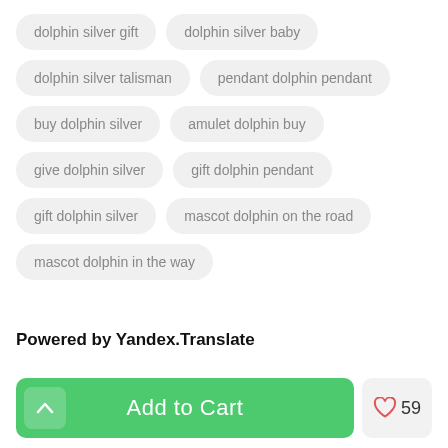dolphin silver gift
dolphin silver baby
dolphin silver talisman
pendant dolphin pendant
buy dolphin silver
amulet dolphin buy
give dolphin silver
gift dolphin pendant
gift dolphin silver
mascot dolphin on the road
mascot dolphin in the way
Powered by Yandex.Translate
Add to Cart
59